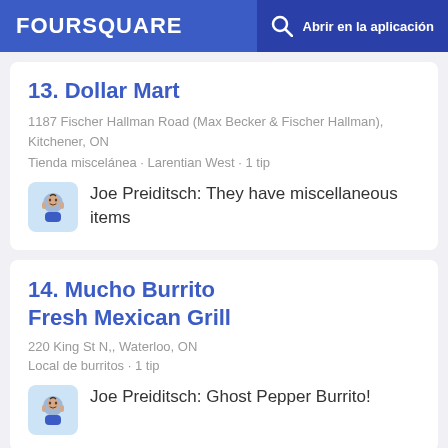FOURSQUARE — Abrir en la aplicación
13. Dollar Mart
1187 Fischer Hallman Road (Max Becker & Fischer Hallman), Kitchener, ON
Tienda miscelánea · Larentian West · 1 tip
Joe Preiditsch: They have miscellaneous items
14. Mucho Burrito Fresh Mexican Grill
220 King St N,, Waterloo, ON
Local de burritos · 1 tip
Joe Preiditsch: Ghost Pepper Burrito!